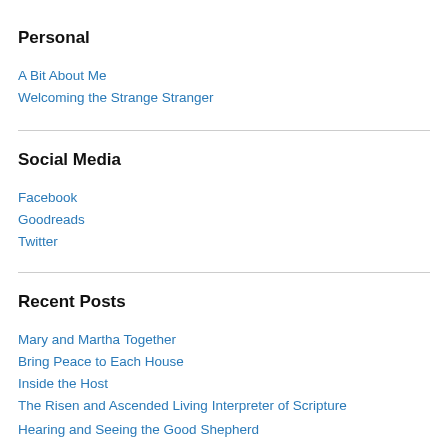Personal
A Bit About Me
Welcoming the Strange Stranger
Social Media
Facebook
Goodreads
Twitter
Recent Posts
Mary and Martha Together
Bring Peace to Each House
Inside the Host
The Risen and Ascended Living Interpreter of Scripture
Hearing and Seeing the Good Shepherd